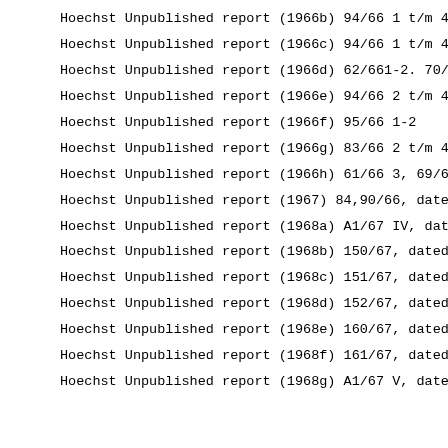Hoechst Unpublished report (1966b) 94/66 1 t/m 4
Hoechst Unpublished report (1966c) 94/66 1 t/m 4
Hoechst Unpublished report (1966d) 62/661-2. 70/66 3,
Hoechst Unpublished report (1966e) 94/66 2 t/m 4
Hoechst Unpublished report (1966f) 95/66 1-2
Hoechst Unpublished report (1966g) 83/66 2 t/m 4
Hoechst Unpublished report (1966h) 61/66 3, 69/66 3,
Hoechst Unpublished report (1967) 84,90/66, dated 3-5
Hoechst Unpublished report (1968a) A1/67 IV, dated 6-
Hoechst Unpublished report (1968b) 150/67, dated 29-5
Hoechst Unpublished report (1968c) 151/67, dated 29-5
Hoechst Unpublished report (1968d) 152/67, dated 29-5
Hoechst Unpublished report (1968e) 160/67, dated 5-7-
Hoechst Unpublished report (1968f) 161/67, dated 5-7-
Hoechst Unpublished report (1968g) A1/67 V, dated 6-6